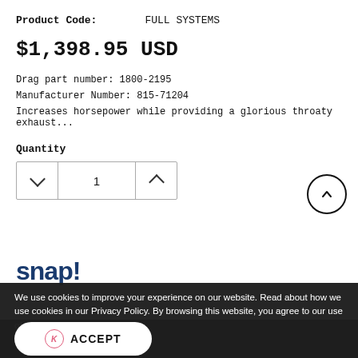Product Code: FULL SYSTEMS
$1,398.95 USD
Drag part number: 1800-2195
Manufacturer Number: 815-71204
Increases horsepower while providing a glorious throaty exhaust...
Quantity
1
[Figure (logo): snap! logo in dark navy blue bold text]
Lease for as low as $53.81/week
We use cookies to improve your experience on our website. Read about how we use cookies in our Privacy Policy. By browsing this website, you agree to our use of cookies. Privacy Policy
ACCEPT